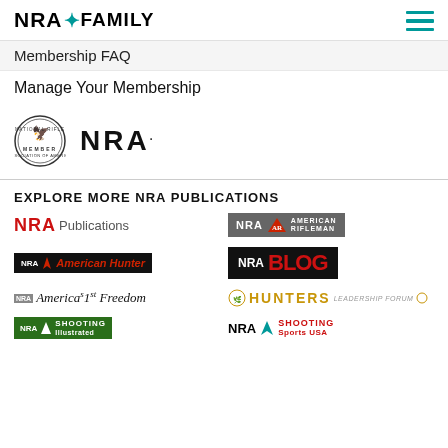NRA FAMILY
Membership FAQ
Manage Your Membership
[Figure (logo): NRA Member seal and NRA text logo]
EXPLORE MORE NRA PUBLICATIONS
[Figure (logo): NRA Publications logo]
[Figure (logo): NRA American Rifleman logo]
[Figure (logo): NRA American Hunter logo]
[Figure (logo): NRA Blog logo]
[Figure (logo): NRA America's 1st Freedom logo]
[Figure (logo): NRA Hunters Leadership Forum logo]
[Figure (logo): NRA Shooting Illustrated logo]
[Figure (logo): NRA Shooting Sports USA logo]